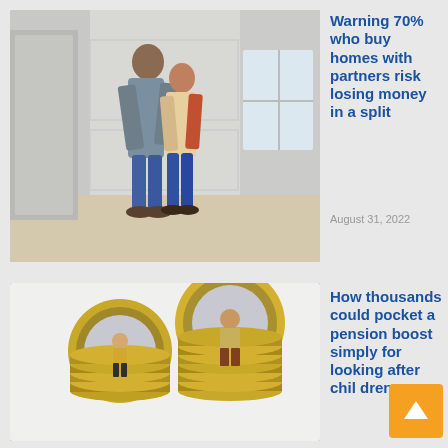[Figure (photo): A couple standing in an empty room of a house they are viewing, looking at each other and smiling. The room has white panelling walls and light wooden floors.]
Warning 70% who buy homes with partners risk losing money in a split
August 31, 2022
[Figure (photo): Two stacks of gold pound coins with miniature figurines sitting on top — a smaller woman on the left shorter stack and a man on the taller right stack, illustrating a gender pension gap.]
How thousands could pocket a pension boost simply for looking after chil dren